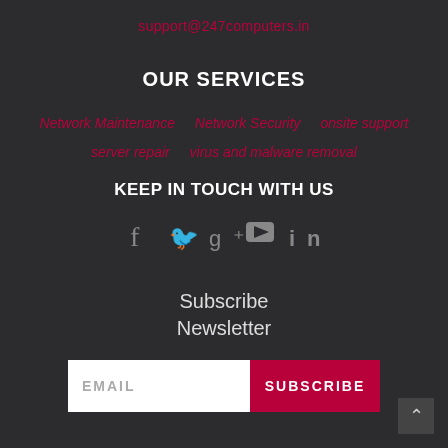support@247computers.in
OUR SERVICES
Network Maintenance
Network Security
onsite support
server repair
virus and malware removal
KEEP IN TOUCH WITH US
[Figure (infographic): Social media icons: Facebook, Twitter, Google+, YouTube, LinkedIn]
Subscribe Newsletter
[Figure (other): Email subscription form with EMAIL input field and SUBSCRIBE button]